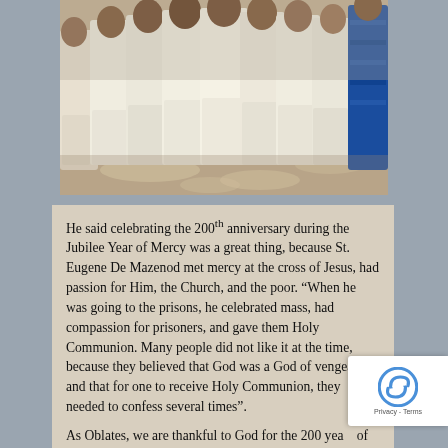[Figure (photo): Group photo of people dressed in white religious robes/vestments standing together inside what appears to be a church or hall. One person on the far right is wearing colorful blue patterned clothing.]
He said celebrating the 200th anniversary during the Jubilee Year of Mercy was a great thing, because St. Eugene De Mazenod met mercy at the cross of Jesus, had passion for Him, the Church, and the poor. “When he was going to the prisons, he celebrated mass, had compassion for prisoners, and gave them Holy Communion. Many people did not like it at the time, because they believed that God was a God of vengeance and that for one to receive Holy Communion, they needed to confess several times”.
As Oblates, we are thankful to God for the 200 years of existence; we have not come here to blow our own trumpet about how we have served in difficult